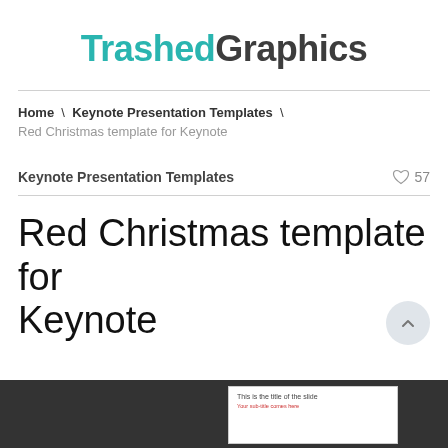TrashedGraphics
Home \ Keynote Presentation Templates \ Red Christmas template for Keynote
Keynote Presentation Templates
Red Christmas template for Keynote
[Figure (screenshot): Dark preview bar at bottom showing a white slide thumbnail with 'This is the title of the slide' and red subtitle text]